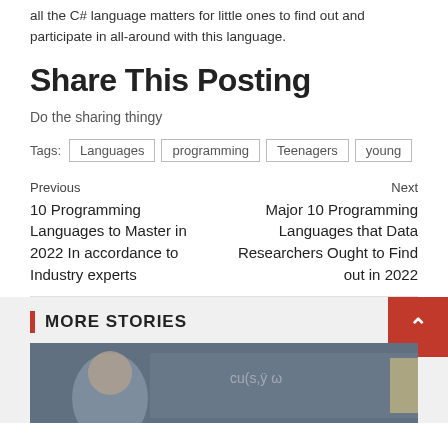all the C# language matters for little ones to find out and participate in all-around with this language.
Share This Posting
Do the sharing thingy
Tags: Languages  programming  Teenagers  young
Previous
10 Programming Languages to Master in 2022 In accordance to Industry experts
Next
Major 10 Programming Languages that Data Researchers Ought to Find out in 2022
MORE STORIES
[Figure (photo): Photo showing a classroom scene with a person near a chalkboard with writing on it]